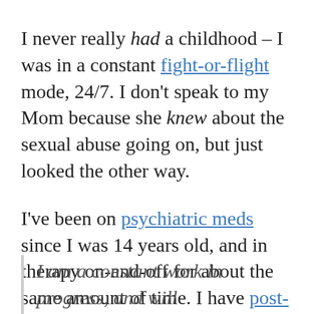I never really had a childhood – I was in a constant fight-or-flight mode, 24/7. I don't speak to my Mom because she knew about the sexual abuse going on, but just looked the other way.
I've been on psychiatric meds since I was 14 years old, and in therapy on-and-off for about the same amount of time. I have post-traumatic stress disorder (PTSD), agoraphobia, major depressive disorder (MDD), every kind of anxiety there is.
I am a constant work in progress, and will